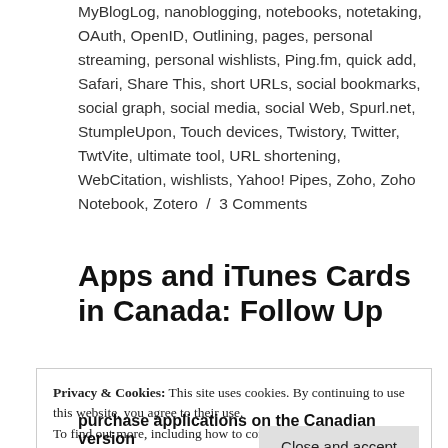MyBlogLog, nanoblogging, notebooks, notetaking, OAuth, OpenID, Outlining, pages, personal streaming, personal wishlists, Ping.fm, quick add, Safari, Share This, short URLs, social bookmarks, social graph, social media, social Web, Spurl.net, StumpleUpon, Touch devices, Twistory, Twitter, TwtVite, ultimate tool, URL shortening, WebCitation, wishlists, Yahoo! Pipes, Zoho, Zoho Notebook, Zotero / 3 Comments
Apps and iTunes Cards in Canada: Follow Up
Privacy & Cookies: This site uses cookies. By continuing to use this website, you agree to their use.
To find out more, including how to control cookies, see here:
Cookie Policy
[Close and accept]
purchase applications on the Canadian version